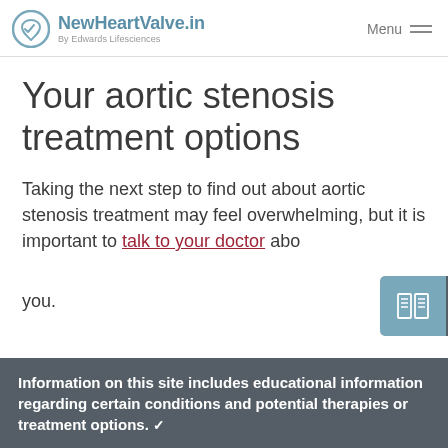NewHeartValve.in By Edwards Lifesciences | Menu
Your aortic stenosis treatment options
Taking the next step to find out about aortic stenosis treatment may feel overwhelming, but it is important to talk to your doctor about... you.
[Figure (infographic): Call-to-action button: book icon with 'Request your free info kit' text on dark grey background]
Information on this site includes educational information regarding certain conditions and potential therapies or treatment options.